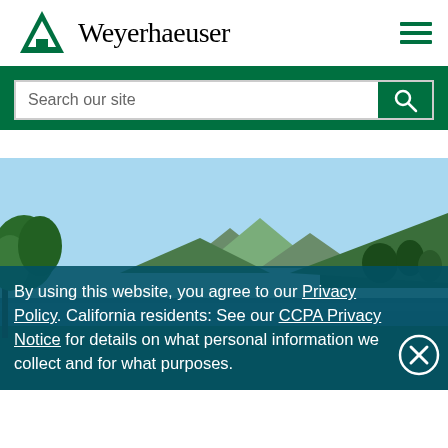Weyerhaeuser
Search our site
[Figure (photo): Panoramic landscape photo of a lake or river surrounded by forested hills and mountains under a clear blue sky, with a deciduous tree in the foreground on the left]
By using this website, you agree to our Privacy Policy. California residents: See our CCPA Privacy Notice for details on what personal information we collect and for what purposes.